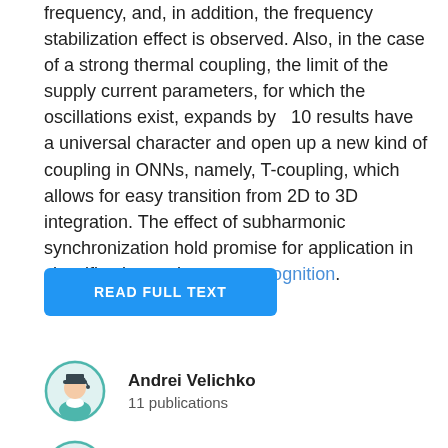frequency, and, in addition, the frequency stabilization effect is observed. Also, in the case of a strong thermal coupling, the limit of the supply current parameters, for which the oscillations exist, expands by  10 results have a universal character and open up a new kind of coupling in ONNs, namely, T-coupling, which allows for easy transition from 2D to 3D integration. The effect of subharmonic synchronization hold promise for application in classification and pattern recognition.
READ FULL TEXT
[Figure (illustration): Avatar icon of Andrei Velichko — circular teal-bordered icon with a cartoon graduate student figure wearing a mortarboard]
Andrei Velichko
11 publications
[Figure (illustration): Avatar icon of Maksim Belyaev — circular teal-bordered icon with a cartoon graduate student figure wearing a mortarboard]
Maksim Belyaev
3 publications